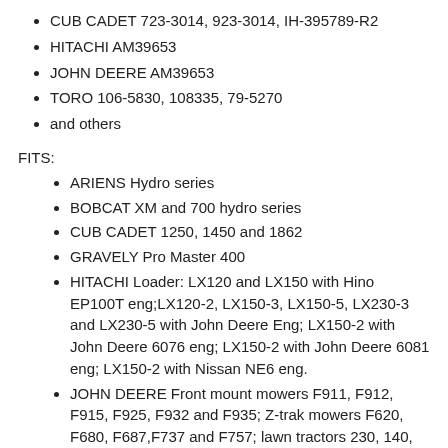CUB CADET 723-3014, 923-3014, IH-395789-R2
HITACHI AM39653
JOHN DEERE AM39653
TORO 106-5830, 108335, 79-5270
and others
FITS:
ARIENS Hydro series
BOBCAT XM and 700 hydro series
CUB CADET 1250, 1450 and 1862
GRAVELY Pro Master 400
HITACHI Loader: LX120 and LX150 with Hino EP100T eng;LX120-2, LX150-3, LX150-5, LX230-3 and LX230-5 with John Deere Eng; LX150-2 with John Deere 6076 eng; LX150-2 with John Deere 6081 eng; LX150-2 with Nissan NE6 eng.
JOHN DEERE Front mount mowers F911, F912, F915, F925, F932 and F935; Z-trak mowers F620, F680, F687,F737 and F757; lawn tractors 230, 140, 300, 312, 314, 316, 317, 318, 322, 330, 332, 400, 420 and 430.Loaders: 444J, 444H LL and 444HTC with 4045T Powertech Eng; 544H, 544H LL, 544HTC and624H with 6068 Powertech Eng; 544J and 624Jwith 6068H eng; 624G with 6068T eng;